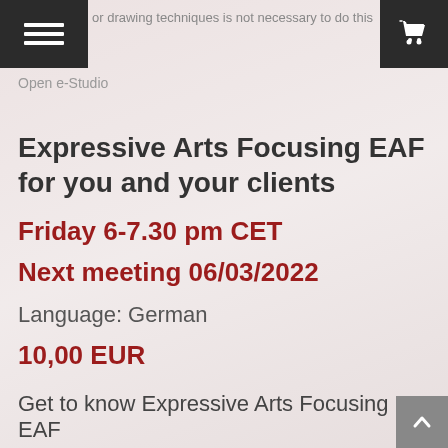or drawing techniques is not necessary to do this art activity
Open e-Studio
Expressive Arts Focusing EAF for you and your clients
Friday 6-7.30 pm CET
Next meeting 06/03/2022
Language: German
10,00 EUR
Get to know Expressive Arts Focusing EAF